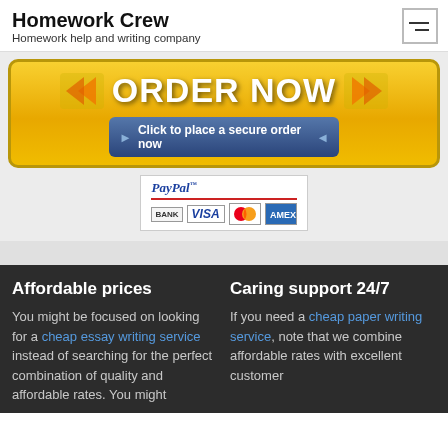Homework Crew
Homework help and writing company
[Figure (screenshot): ORDER NOW button with gold/yellow background, arrows on left and right, 'Click to place a secure order now' button below, PayPal payment options (BANK, VISA, Mastercard, credit card logos)]
Affordable prices
You might be focused on looking for a cheap essay writing service instead of searching for the perfect combination of quality and affordable rates. You might
Caring support 24/7
If you need a cheap paper writing service, note that we combine affordable rates with excellent customer